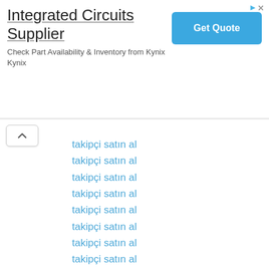[Figure (screenshot): Advertisement banner for Integrated Circuits Supplier (Kynix) with title, description text, and a blue 'Get Quote' button, plus ad indicator icons in top right.]
takipçi satın al
takipçi satın al
takipçi satın al
takipçi satın al
takipçi satın al
takipçi satın al
takipçi satın al
takipçi satın al
instagram takipçi satın al
instagram takipçi satın al
takipçi satın al
takipçi satın al
instagram takipçi satın al
instagram takipçi satın al
instagram takipçi satın al
instagram takipçi satın al
takipçi satın al